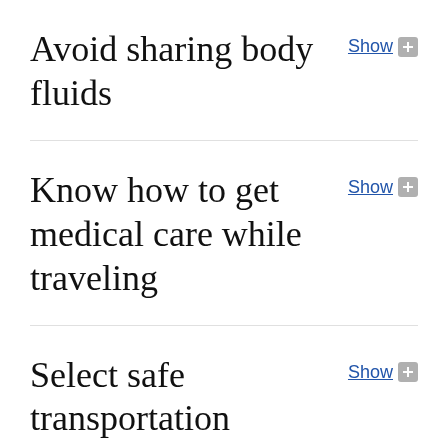Avoid sharing body fluids
Know how to get medical care while traveling
Select safe transportation
Maintain...